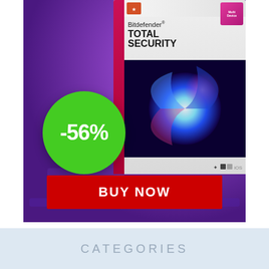[Figure (illustration): Bitdefender Total Security software box on purple background with -56% discount green bubble and red BUY NOW button]
CATEGORIES